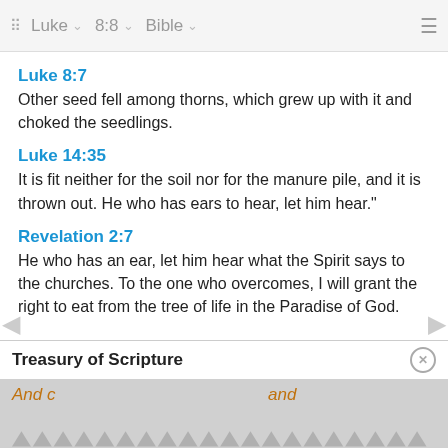Luke  8:8  Bible
Luke 8:7
Other seed fell among thorns, which grew up with it and choked the seedlings.
Luke 14:35
It is fit neither for the soil nor for the manure pile, and it is thrown out. He who has ears to hear, let him hear."
Revelation 2:7
He who has an ear, let him hear what the Spirit says to the churches. To the one who overcomes, I will grant the right to eat from the tree of life in the Paradise of God.
Treasury of Scripture
And c … and